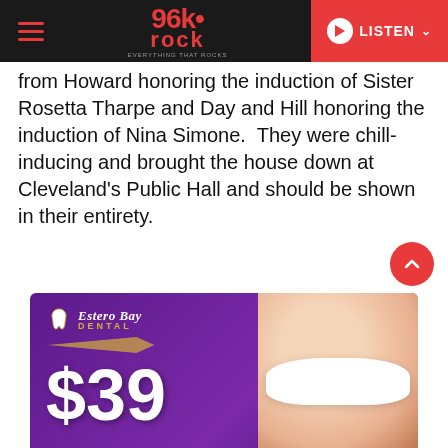96k Rock — LISTEN
from Howard honoring the induction of Sister Rosetta Tharpe and Day and Hill honoring the induction of Nina Simone.  They were chill-inducing and brought the house down at Cleveland's Public Hall and should be shown in their entirety.
[Figure (photo): Estero Bay Dental advertisement banner showing a smiling person with white teeth and the price $39, purple gradient background]